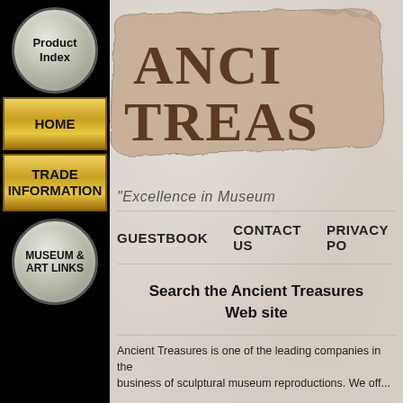[Figure (screenshot): Navigation sidebar with black background containing: Product Index circular button (silver/grey circle), HOME gold bar button, TRADE INFORMATION gold bar button, MUSEUM & ART LINKS circular button (silver/grey circle)]
[Figure (photo): Stone tablet with text ANCI... TREAS... (Ancient Treasures logo partially visible) on textured tan/beige stone background]
"Excellence in Museum..."
GUESTBOOK
CONTACT US
PRIVACY PO...
Search the Ancient Treasures Web site
Ancient Treasures is one of the leading companies in the business of sculptural museum reproductions. We off...